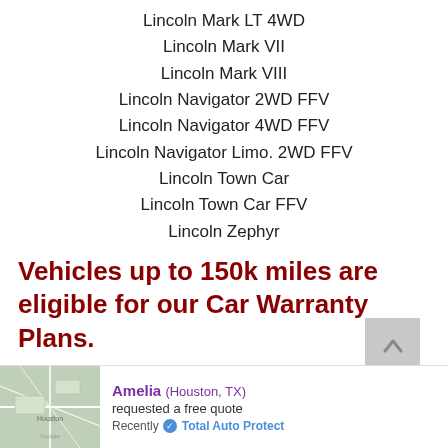Lincoln Mark LT 4WD
Lincoln Mark VII
Lincoln Mark VIII
Lincoln Navigator 2WD FFV
Lincoln Navigator 4WD FFV
Lincoln Navigator Limo. 2WD FFV
Lincoln Town Car
Lincoln Town Car FFV
Lincoln Zephyr
Vehicles up to 150k miles are eligible for our Car Warranty Plans.
[Figure (other): Back-to-top button (upward chevron on gray square background)]
Amelia (Houston, TX) requested a free quote Recently ✓ Total Auto Protect